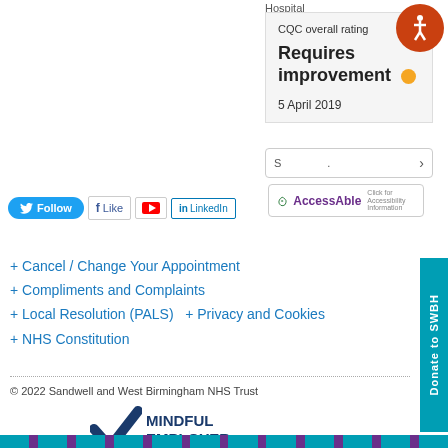Hospital
CQC overall rating
Requires improvement
5 April 2019
[Figure (logo): AccessAble accessibility logo with green book icon]
[Figure (logo): Social media bar: Twitter Follow button, Facebook Like, YouTube, LinkedIn]
+ Cancel / Change Your Appointment
+ Compliments and Complaints
+ Local Resolution (PALS)  + Privacy and Cookies
+ NHS Constitution
© 2022 Sandwell and West Birmingham NHS Trust
[Figure (logo): Mindful Employer logo with blue checkmark and MINDFUL EMPLOYER text]